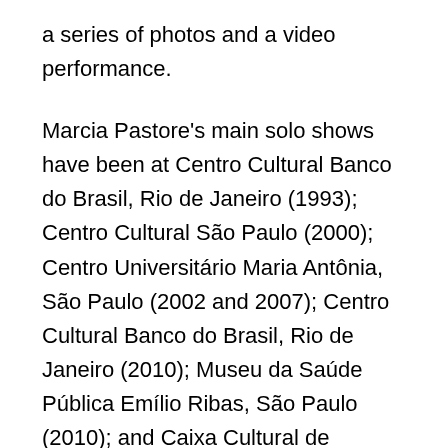a series of photos and a video performance.
Marcia Pastore's main solo shows have been at Centro Cultural Banco do Brasil, Rio de Janeiro (1993); Centro Cultural São Paulo (2000); Centro Universitário Maria Antônia, São Paulo (2002 and 2007); Centro Cultural Banco do Brasil, Rio de Janeiro (2010); Museu da Saúde Pública Emílio Ribas, São Paulo (2010); and Caixa Cultural de Fortaleza, Ceará (2012). Other solos are Tira-linhas, Biblioteca Mario de Andrade, São Paulo (2015), and Corpo de prova, MuBE (Museu Brasileiro da Escultura e Ecologia), São Paulo (2017). In 2019 the artist exhibited the retrospective Marcia Pastore: